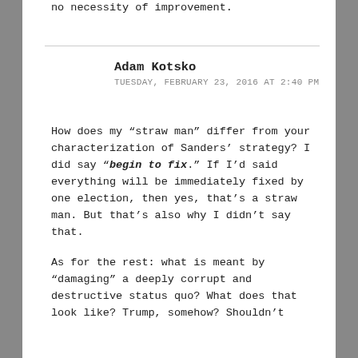no necessity of improvement.
Adam Kotsko
TUESDAY, FEBRUARY 23, 2016 AT 2:40 PM
How does my “straw man” differ from your characterization of Sanders’ strategy? I did say “beg​in to fix.” If I’d said everything will be immediately fixed by one election, then yes, that’s a straw man. But that’s also why I didn’t say that.
As for the rest: what is meant by “damaging” a deeply corrupt and destructive status quo? What does that look like? Trump, somehow? Shouldn’t